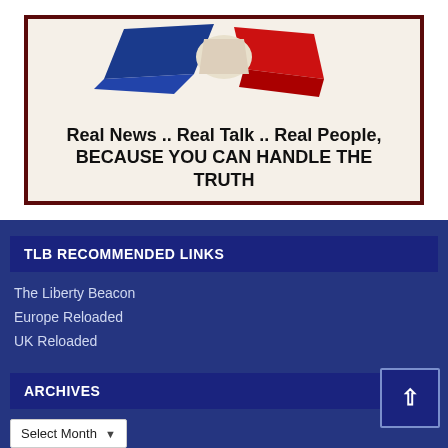[Figure (illustration): Banner image with red, white and blue flags/eagle graphic at top, and text: 'Real News .. Real Talk .. Real People, BECAUSE YOU CAN HANDLE THE TRUTH' on a cream background with dark red border.]
TLB RECOMMENDED LINKS
The Liberty Beacon
Europe Reloaded
UK Reloaded
ARCHIVES